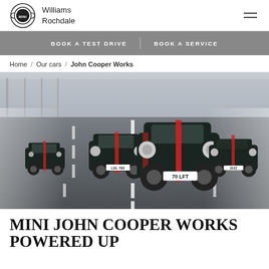Williams Rochdale - MINI Dealer
BOOK A TEST DRIVE | BOOK A SERVICE
Home / Our cars / John Cooper Works
[Figure (photo): Four dark MINI John Cooper Works cars driving side by side on a motorway road, photographed from front-on perspective with motion blur on the sides.]
MINI JOHN COOPER WORKS POWERED UP